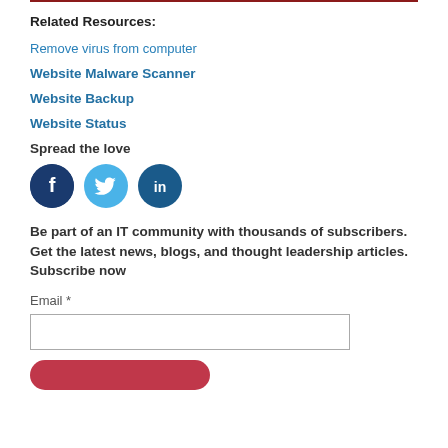Related Resources:
Remove virus from computer
Website Malware Scanner
Website Backup
Website Status
Spread the love
[Figure (illustration): Three social media icons: Facebook (dark blue circle with 'f'), Twitter (light blue circle with bird), LinkedIn (dark blue circle with 'in')]
Be part of an IT community with thousands of subscribers. Get the latest news, blogs, and thought leadership articles. Subscribe now
Email *
[Email input field]
[Submit button]